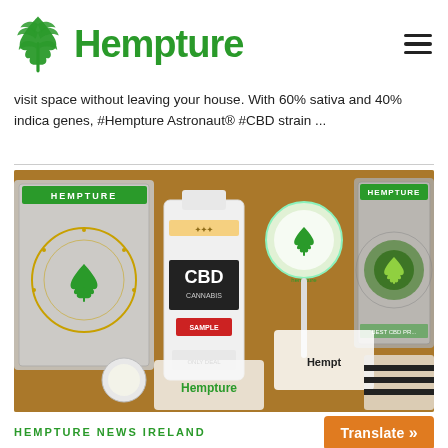Hempture
visit space without leaving your house. With 60% sativa and 40% indica genes, #Hempture Astronaut® #CBD strain ...
[Figure (photo): Hempture CBD products arranged on a surface including packaged flower bags, a CBD oil bottle, a lollipop, and other hemp-branded merchandise.]
HEMPTURE NEWS IRELAND
Translate »